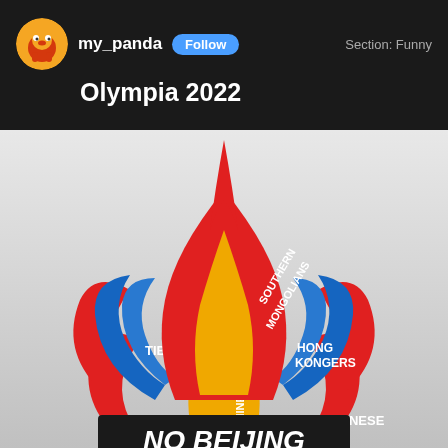my_panda   Follow   Section: Funny
Olympia 2022
[Figure (illustration): Stylized Olympic torch made of colored flames, each labeled with a group: SOUTHERN MONGOLIANS (yellow/gold flame center top), TIBETANS (blue flame left), HONG KONGERS (blue flame right), UYGHURS (red flame lower left), CHINESE (gold flame lower center), TAIWANESE (red flame lower right). Black banner at bottom reads NO BEIJING.]